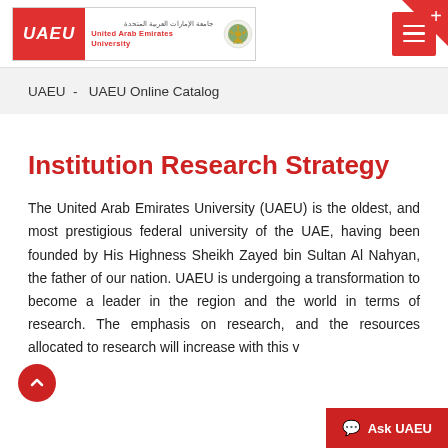UAEU - United Arab Emirates University
UAEU  -  UAEU Online Catalog
Institution Research Strategy
The United Arab Emirates University (UAEU) is the oldest, and most prestigious federal university of the UAE, having been founded by His Highness Sheikh Zayed bin Sultan Al Nahyan, the father of our nation. UAEU is undergoing a transformation to become a leader in the region and the world in terms of research. The emphasis on research, and the resources allocated to research will increase with this v